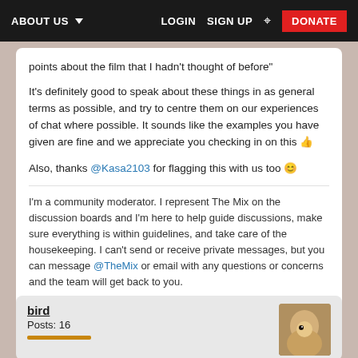ABOUT US  LOGIN  SIGN UP  DONATE
points about the film that I hadn't thought of before"
It's definitely good to speak about these things in as general terms as possible, and try to centre them on our experiences of chat where possible. It sounds like the examples you have given are fine and we appreciate you checking in on this 👍
Also, thanks @Kasa2103 for flagging this with us too 😊
I'm a community moderator. I represent The Mix on the discussion boards and I'm here to help guide discussions, make sure everything is within guidelines, and take care of the housekeeping. I can't send or receive private messages, but you can message @TheMix or email with any questions or concerns and the team will get back to you.
[Figure (photo): Three thumbnail images of birds/nature]
bird
Posts: 16